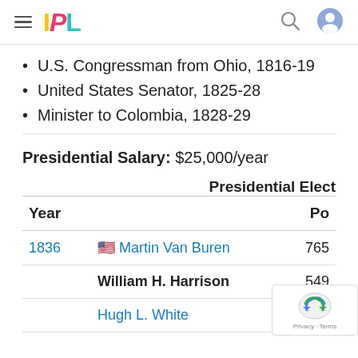IPL
U.S. Congressman from Ohio, 1816-19
United States Senator, 1825-28
Minister to Colombia, 1828-29
Presidential Salary: $25,000/year
Presidential Elect
| Year |  | Po |
| --- | --- | --- |
| 1836 | 🇺🇸 Martin Van Buren | 765 |
|  | William H. Harrison | 549 |
|  | Hugh L. White |  |